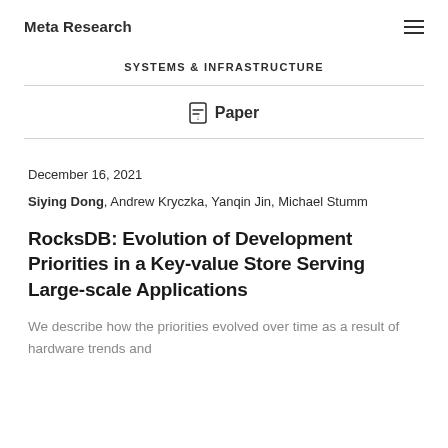Meta Research
SYSTEMS & INFRASTRUCTURE
Paper
December 16, 2021
Siying Dong, Andrew Kryczka, Yanqin Jin, Michael Stumm
RocksDB: Evolution of Development Priorities in a Key-value Store Serving Large-scale Applications
We describe how the priorities evolved over time as a result of hardware trends and